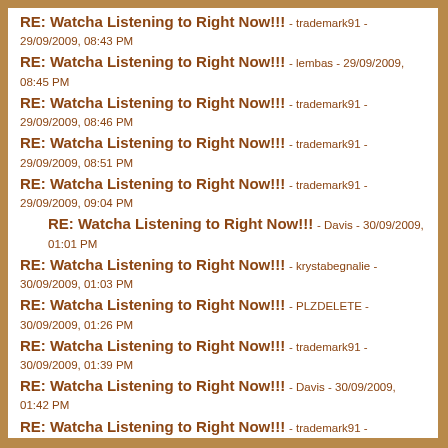RE: Watcha Listening to Right Now!!! - trademark91 - 29/09/2009, 08:43 PM
RE: Watcha Listening to Right Now!!! - lembas - 29/09/2009, 08:45 PM
RE: Watcha Listening to Right Now!!! - trademark91 - 29/09/2009, 08:46 PM
RE: Watcha Listening to Right Now!!! - trademark91 - 29/09/2009, 08:51 PM
RE: Watcha Listening to Right Now!!! - trademark91 - 29/09/2009, 09:04 PM
RE: Watcha Listening to Right Now!!! - Davis - 30/09/2009, 01:01 PM
RE: Watcha Listening to Right Now!!! - krystabegnalie - 30/09/2009, 01:03 PM
RE: Watcha Listening to Right Now!!! - PLZDELETE - 30/09/2009, 01:26 PM
RE: Watcha Listening to Right Now!!! - trademark91 - 30/09/2009, 01:39 PM
RE: Watcha Listening to Right Now!!! - Davis - 30/09/2009, 01:42 PM
RE: Watcha Listening to Right Now!!! - trademark91 - 30/09/2009, 01:43 PM
RE: Watcha Listening to Right Now!!! - Davis - 30/09/2009, 01:47 PM
RE: Watcha Listening to Right Now!!! - trademark91 - 30/09/2009, 01:48 PM
RE: Watcha Listening to Right Now!!! - krystabegnalie - 30/09/2009, 01:50 PM